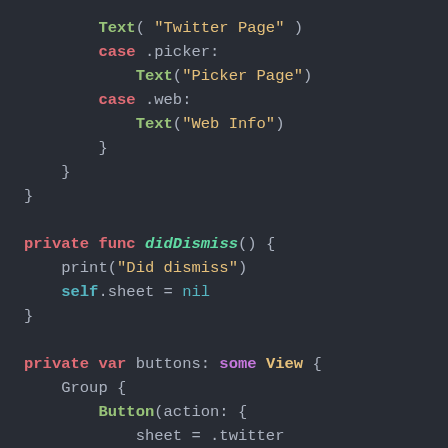[Figure (screenshot): Swift code editor screenshot on dark background showing case statements and private function definitions including didDismiss and buttons var]